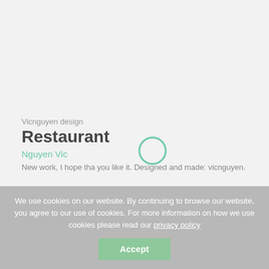Vicnguyen design
Restaurant ▲
Nguyen Vic
[Figure (other): A circular ring/loading icon in teal/green outline]
New work, I hope tha you like it. Designed and made: vicnguyen.
We use cookies on our website. By continuing to browse our website, you agree to our use of cookies. For more information on how we use cookies please read our privacy policy
Accept